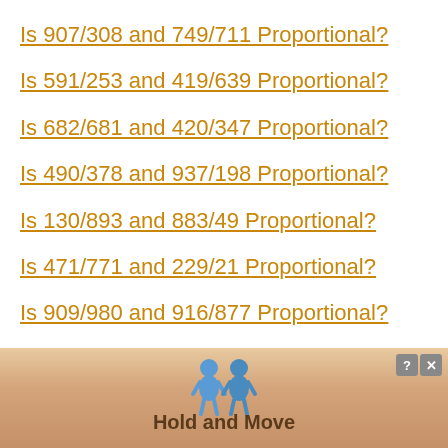Is 907/308 and 749/711 Proportional?
Is 591/253 and 419/639 Proportional?
Is 682/681 and 420/347 Proportional?
Is 490/378 and 937/198 Proportional?
Is 130/893 and 883/49 Proportional?
Is 471/771 and 229/21 Proportional?
Is 909/980 and 916/877 Proportional?
Is 205/927 and 884/317 Proportional?
[Figure (other): Advertisement banner with 'Hold and Move' text and two cartoon figures, with help and close buttons]